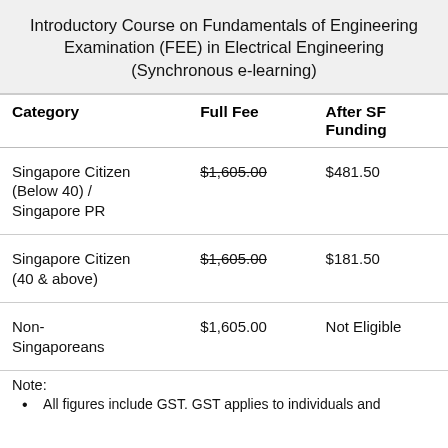Introductory Course on Fundamentals of Engineering Examination (FEE) in Electrical Engineering (Synchronous e-learning)
| Category | Full Fee | After SF Funding |
| --- | --- | --- |
| Singapore Citizen (Below 40) / Singapore PR | $1,605.00 | $481.50 |
| Singapore Citizen (40 & above) | $1,605.00 | $181.50 |
| Non-Singaporeans | $1,605.00 | Not Eligible |
Note:
All figures include GST. GST applies to individuals and